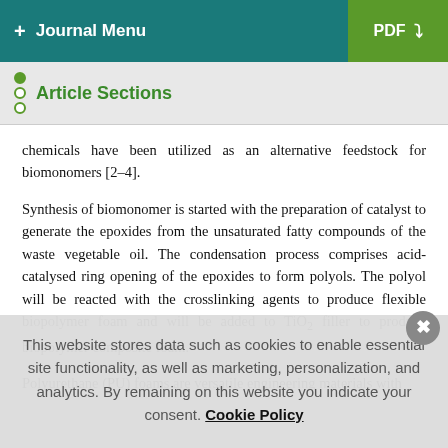+ Journal Menu  PDF ↓
Article Sections
chemicals have been utilized as an alternative feedstock for biomonomers [2–4].
Synthesis of biomonomer is started with the preparation of catalyst to generate the epoxides from the unsaturated fatty compounds of the waste vegetable oil. The condensation process comprises acid-catalysed ring opening of the epoxides to form polyols. The polyol will be reacted with the crosslinking agents to produce flexible biopolymer foam and will be added to TiO₂ filler to produce biopolymer composite foam.
Polyurethane (PU) foams are versatile engineering materials with
This website stores data such as cookies to enable essential site functionality, as well as marketing, personalization, and analytics. By remaining on this website you indicate your consent. Cookie Policy